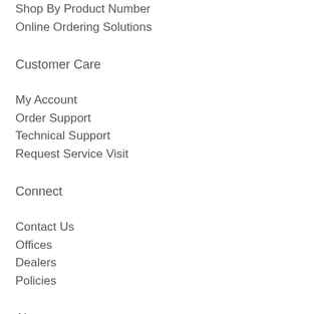Shop By Product Number
Online Ordering Solutions
Customer Care
My Account
Order Support
Technical Support
Request Service Visit
Connect
Contact Us
Offices
Dealers
Policies
About
Careers
Company Information
Events
Press Room